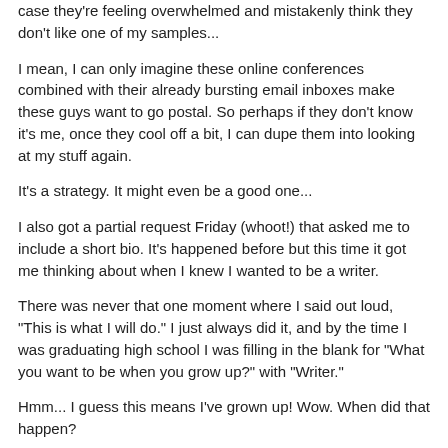case they're feeling overwhelmed and mistakenly think they don't like one of my samples...
I mean, I can only imagine these online conferences combined with their already bursting email inboxes make these guys want to go postal. So perhaps if they don't know it's me, once they cool off a bit, I can dupe them into looking at my stuff again.
It's a strategy. It might even be a good one...
I also got a partial request Friday (whoot!) that asked me to include a short bio. It's happened before but this time it got me thinking about when I knew I wanted to be a writer.
There was never that one moment where I said out loud, "This is what I will do." I just always did it, and by the time I was graduating high school I was filling in the blank for "What you want to be when you grow up?" with "Writer."
Hmm... I guess this means I've grown up! Wow. When did that happen?